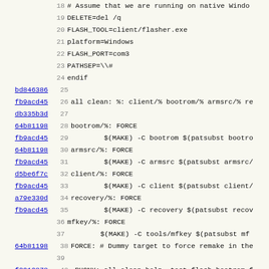Code listing: Makefile lines 18-50 with git blame hashes
18  # Assume that we are running on native Windo
19  DELETE=del /q
20  FLASH_TOOL=client/flasher.exe
21  platform=Windows
22  FLASH_PORT=com3
23  PATHSEP=\\#
24  endif
bd846386  25
fb9acd45  26  all clean: %: client/% bootrom/% armsrc/% re
db335b3d  27
64b81198  28  bootrom/%: FORCE
fb9acd45  29          $(MAKE) -C bootrom $(patsubst bootro
64b81198  30  armsrc/%: FORCE
fb9acd45  31          $(MAKE) -C armsrc $(patsubst armsrc/
d5be6f7c  32  client/%: FORCE
fb9acd45  33          $(MAKE) -C client $(patsubst client/
a79e330d  34  recovery/%: FORCE
fb9acd45  35          $(MAKE) -C recovery $(patsubst recov
36  mfkey/%: FORCE
37          $(MAKE) -C tools/mfkey $(patsubst mf
64b81198  38  FORCE: # Dummy target to force remake in the
39
f3919878  40  .PHONY: all clean help _test flash-bootrom f
64b81198  41
db335b3d  42  help:
43          @echo Multi-OS Makefile, you are run
44          @echo Possible targets:
64b81198  45          @echo + all          - Make bootrom
33bf54cf  46          @echo + client        - Make only th
64b81198  47          @echo + flash-bootrom - Make bootrom
16f54ead  48          @echo + flash-os      - Make armsrc
f3919878  49          @echo + flash-all     - Make bootrom
64b81199  50          @echo + clean        - Clean in bas